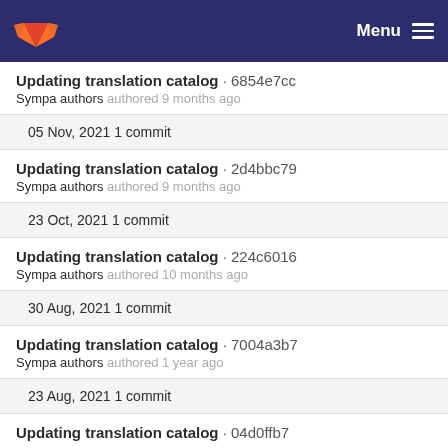GitLab — Menu
Updating translation catalog · 6854e7cc
Sympa authors authored 9 months ago
05 Nov, 2021 1 commit
Updating translation catalog · 2d4bbc79
Sympa authors authored 9 months ago
23 Oct, 2021 1 commit
Updating translation catalog · 224c6016
Sympa authors authored 10 months ago
30 Aug, 2021 1 commit
Updating translation catalog · 7004a3b7
Sympa authors authored 1 year ago
23 Aug, 2021 1 commit
Updating translation catalog · 04d0ffb7